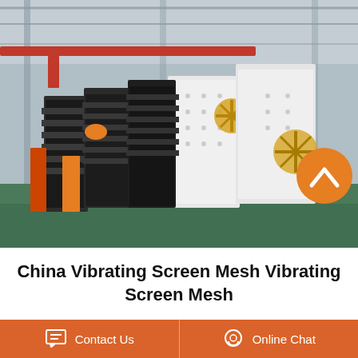[Figure (photo): Industrial warehouse/factory interior showing rows of vibrating screen mesh machines (black and white colored, large industrial equipment) stacked together on a green painted factory floor, with overhead crane rails visible in the ceiling. An orange circular navigation button (chevron up) is visible in the lower right corner of the photo.]
China Vibrating Screen Mesh Vibrating Screen Mesh
Contact Us
Online Chat